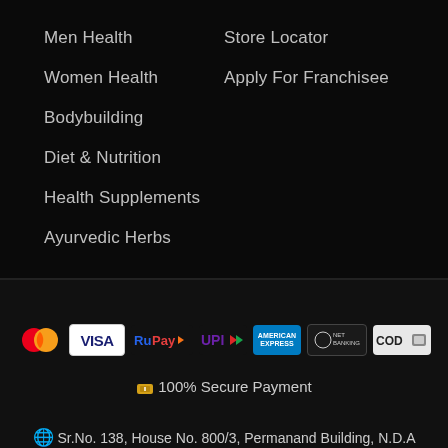Men Health
Women Health
Bodybuilding
Diet & Nutrition
Health Supplements
Ayurvedic Herbs
Store Locator
Apply For Franchisee
[Figure (infographic): Payment method icons: Mastercard, Visa, RuPay, UPI, American Express, Net Banking, COD]
🔒 100% Secure Payment
🌐 Sr.No. 138, House No. 800/3, Permanand Building, N.D.A Road, Warje Malwadi, Pune, MH - 411058